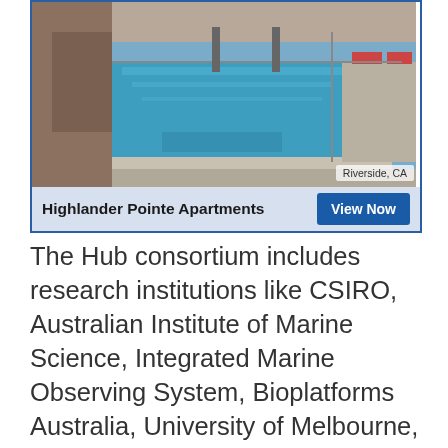[Figure (photo): Aerial/ground view of a swimming pool area with lounge chairs and paved surroundings at an apartment complex. Location tag reads 'Riverside, CA'.]
Highlander Pointe Apartments   View Now
The Hub consortium includes research institutions like CSIRO, Australian Institute of Marine Science, Integrated Marine Observing System, Bioplatforms Australia, University of Melbourne, University of Wollongong, University of NSW, Sydney Institute of Marine Science, University of Queensland, James Cook University, Charles Darwin University, University of Western Australia, University of Adelaide, Flinders University, Marine Innovation South